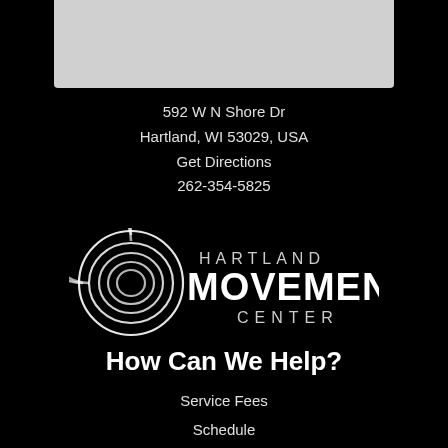[Figure (other): Gray rectangle at top (map/image placeholder)]
592 W N Shore Dr
Hartland, WI 53029, USA
Get Directions
262-354-5825
[Figure (logo): Hartland Movement Center logo — spiral graphic on left, text HARTLAND MOVEMENT CENTER on right]
How Can We Help?
Service Fees
Schedule
Contact Us